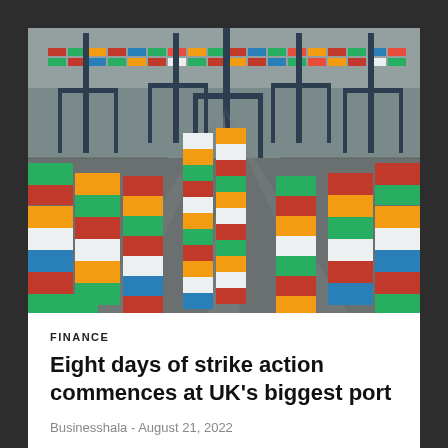[Figure (photo): Aerial view of a large shipping container port with rows of colorful red, green, yellow, blue, and white shipping containers stacked in rows with large blue cranes visible overhead.]
FINANCE
Eight days of strike action commences at UK's biggest port
Businesshala - August 21, 2022